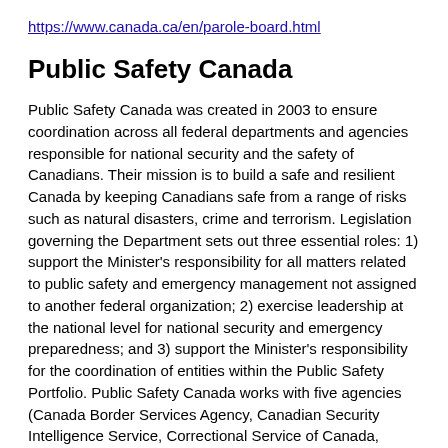https://www.canada.ca/en/parole-board.html
Public Safety Canada
Public Safety Canada was created in 2003 to ensure coordination across all federal departments and agencies responsible for national security and the safety of Canadians. Their mission is to build a safe and resilient Canada by keeping Canadians safe from a range of risks such as natural disasters, crime and terrorism. Legislation governing the Department sets out three essential roles: 1) support the Minister's responsibility for all matters related to public safety and emergency management not assigned to another federal organization; 2) exercise leadership at the national level for national security and emergency preparedness; and 3) support the Minister's responsibility for the coordination of entities within the Public Safety Portfolio. Public Safety Canada works with five agencies (Canada Border Services Agency, Canadian Security Intelligence Service, Correctional Service of Canada,